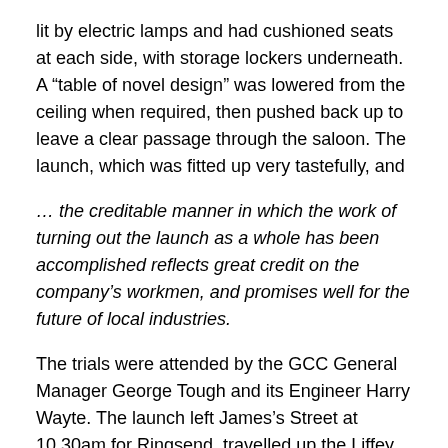lit by electric lamps and had cushioned seats at each side, with storage lockers underneath. A “table of novel design” was lowered from the ceiling when required, then pushed back up to leave a clear passage through the saloon. The launch, which was fitted up very tastefully, and
… the creditable manner in which the work of turning out the launch as a whole has been accomplished reflects great credit on the company’s workmen, and promises well for the future of local industries.
The trials were attended by the GCC General Manager George Tough and its Engineer Harry Wayte. The launch left James’s Street at 10.30am for Ringsend, travelled up the Liffey to Kingsbridge and back down again, before going out into Dublin Bay two miles beyond the Poolbeg lighthouse. On a measured mile in the Liffey, between the